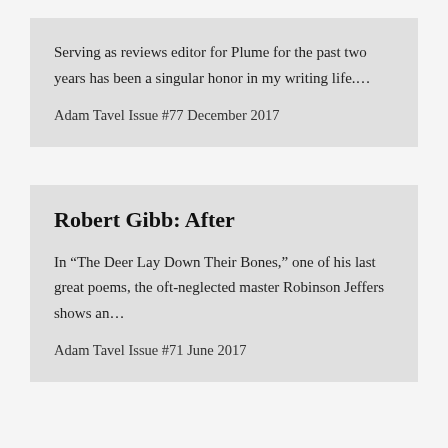Serving as reviews editor for Plume for the past two years has been a singular honor in my writing life.…
Adam Tavel Issue #77 December 2017
Robert Gibb: After
In “The Deer Lay Down Their Bones,” one of his last great poems, the oft-neglected master Robinson Jeffers shows an…
Adam Tavel Issue #71 June 2017